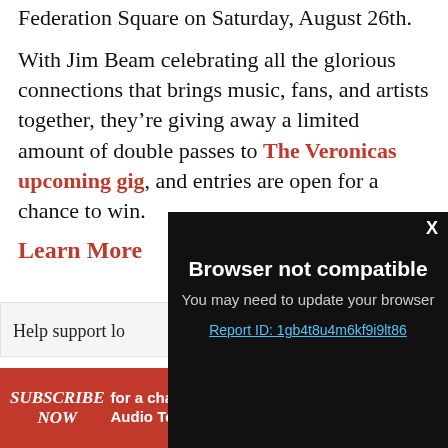Federation Square on Saturday, August 26th.
With Jim Beam celebrating all the glorious connections that brings music, fans, and artists together, they’re giving away a limited amount of double passes to The Veronicas upcoming gig, and entries are open for a chance to win.
Learn More
[Figure (screenshot): Browser not compatible modal overlay on dark background with close X button, subtitle 'You may need to update your browser', and link 'Report ID: 1gb4t8u4m6kf9i9lt86']
Help support lo
SUBSCRIBE NOW for a chance to WIN 1 of 2 Audio Technica turntables VALUED AT $329